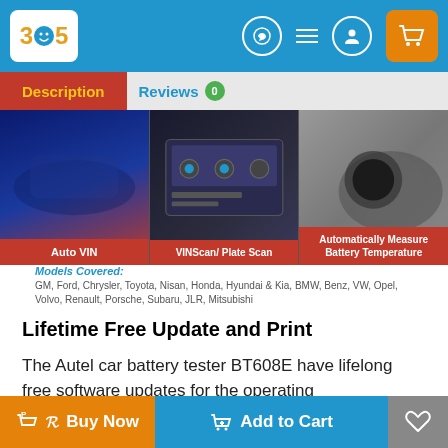365 [logo] — navigation header with WhatsApp, menu, account, cart icons
Description | Reviews 0
[Figure (screenshot): Product feature image strip showing three panels: Auto VIN (car interior), VINScan/Plate Scan (device interface), Automatically Measure Battery Temperature (car wheel), each with red label bar. Below: Models Covered: GM, Ford, Chrysler, Toyota, Nisan, Honda, Hyundai & Kia, BMW, Benz, VW, Opel, Volvo, Renault, Porsche, Subaru, JLR, Mitsubishi]
Lifetime Free Update and Print
The Autel car battery tester BT608E have lifelong free software updates for the operating system/applications/battery testing/battery registration/vehicle manufacturers. The Android-based touchscreen battery testing tool also supports Wi-Fi and Bluetooth connections. The shop-customized reports can be printed out with the built-in thermal printer. No other
Buy Now | Add to Cart | [wishlist]